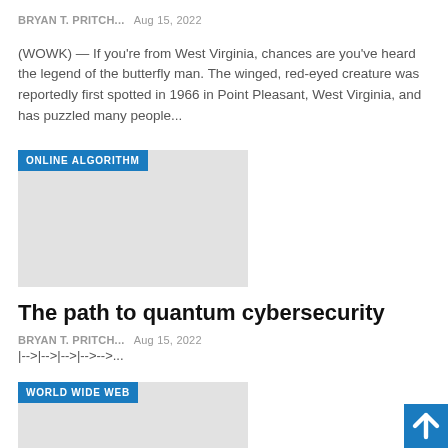BRYAN T. PRITCH...   Aug 15, 2022
(WOWK) — If you're from West Virginia, chances are you've heard the legend of the butterfly man. The winged, red-eyed creature was reportedly first spotted in 1966 in Point Pleasant, West Virginia, and has puzzled many people...
[Figure (photo): Image placeholder with 'ONLINE ALGORITHM' tag label in blue]
The path to quantum cybersecurity
BRYAN T. PRITCH...   Aug 15, 2022
|-->|-->|-->|-->-->...
[Figure (photo): Image placeholder with 'WORLD WIDE WEB' tag label in blue]